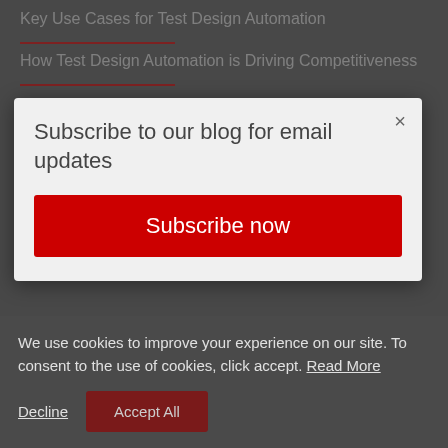Key Use Cases for Test Design Automation
How Test Design Automation is Driving Competitiveness
[Figure (screenshot): Modal popup dialog with title 'Subscribe to our blog for email updates' and a red 'Subscribe now' button, with an X close button in top right corner]
SERVICES
We use cookies to improve your experience on our site. To consent to the use of cookies, click accept. Read More
Decline
Accept All